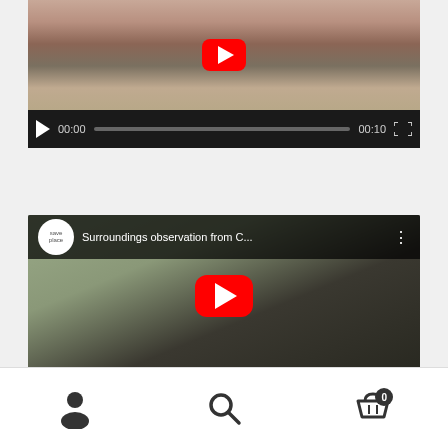[Figure (screenshot): Video player showing a cat in a pink hammock under a chair. Controls show 00:00 time and 00:10 duration with a play button and progress bar.]
[Figure (screenshot): YouTube video embed showing 'Surroundings observation from C...' by saveplace channel with a cat lying in a black hammock with green straps under a chair.]
[Figure (screenshot): Bottom navigation bar with person/account icon, search icon, and shopping cart icon with badge showing 0.]